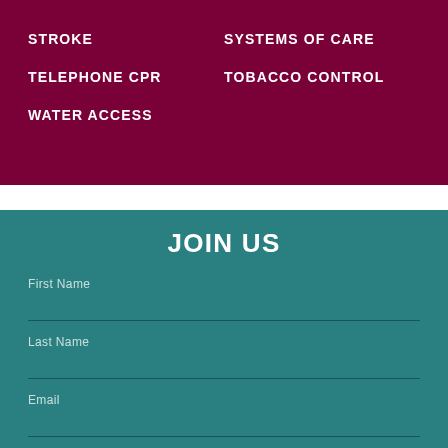STROKE
SYSTEMS OF CARE
TELEPHONE CPR
TOBACCO CONTROL
WATER ACCESS
JOIN US
First Name
Last Name
Email
I agree to the AHA Privacy Policy